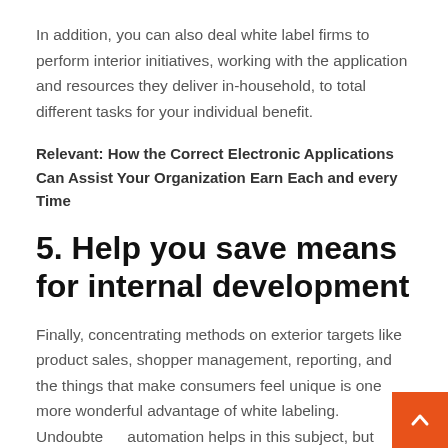In addition, you can also deal white label firms to perform interior initiatives, working with the application and resources they deliver in-household, to total different tasks for your individual benefit.
Relevant: How the Correct Electronic Applications Can Assist Your Organization Earn Each and every Time
5. Help you save means for internal development
Finally, concentrating methods on exterior targets like product sales, shopper management, reporting, and the things that make consumers feel unique is one more wonderful advantage of white labeling. Undoubtedly automation helps in this subject, but obtaining that particular touch helps make all the variance in the